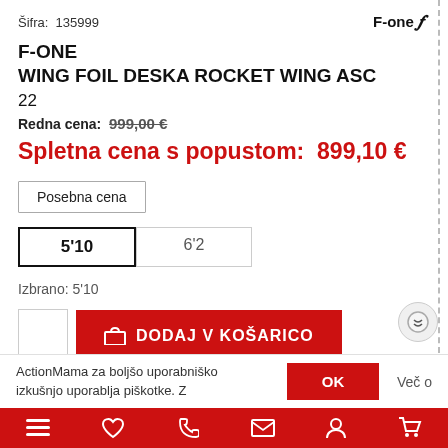Šifra:  135999
[Figure (logo): F-one logo with stylized F text]
F-ONE
WING FOIL DESKA ROCKET WING ASC
22
Redna cena:  999,00 €
Spletna cena s popustom:  899,10 €
Posebna cena
5'10   6'2
Izbrano: 5'10
DODAJ V KOŠARICO
ActionMama za boljšo uporabniško izkušnjo uporablja piškotke. Z
OK
Več o
Bottom navigation bar with menu, heart, phone, email, profile, cart icons